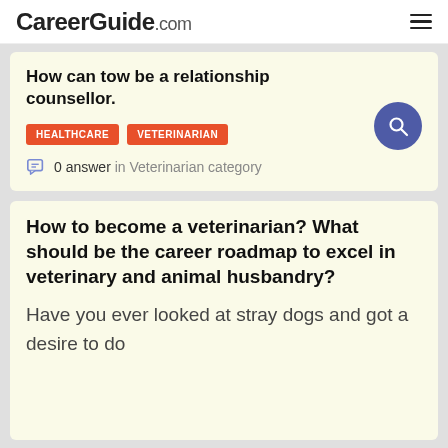CareerGuide.com
How can tow be a relationship counsellor.
HEALTHCARE
VETERINARIAN
0 answer in Veterinarian category
How to become a veterinarian? What should be the career roadmap to excel in veterinary and animal husbandry?
Have you ever looked at stray dogs and got a desire to do